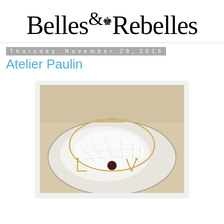Belles & Rebelles
Thursday, November 29, 2018
Atelier Paulin
[Figure (photo): A gold wire bangle bracelet spelling letters, displayed on a white crystalline stone/geode surface. The bracelet has wire-formed letter charms and a dark gemstone charm.]